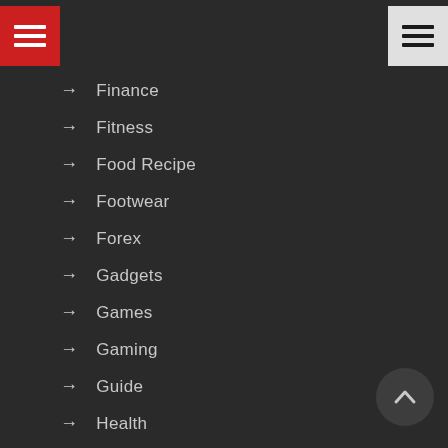[Figure (screenshot): Navigation menu header with red hamburger icon on left and white/gray hamburger icon on right, on dark background]
→ Finance
→ Fitness
→ Food Recipe
→ Footwear
→ Forex
→ Gadgets
→ Games
→ Gaming
→ Guide
→ Health
→ Health and Fitness
→ Home
→ Home Improvement
→ Internet
→ Kitchen Appliance